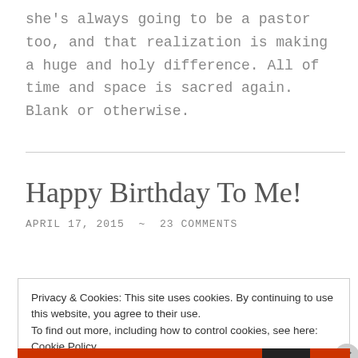she's always going to be a pastor too, and that realization is making a huge and holy difference.  All of time and space is sacred again.  Blank or otherwise.
Happy Birthday To Me!
APRIL 17, 2015  ~  23 COMMENTS
Privacy & Cookies: This site uses cookies. By continuing to use this website, you agree to their use.
To find out more, including how to control cookies, see here: Cookie Policy
Close and accept